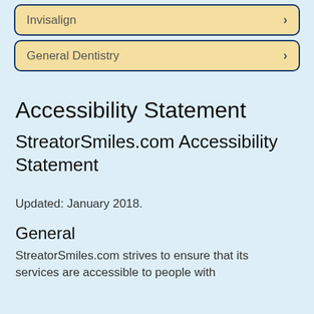Invisalign
General Dentistry
Accessibility Statement
StreatorSmiles.com Accessibility Statement
Updated: January 2018.
General
StreatorSmiles.com strives to ensure that its services are accessible to people with